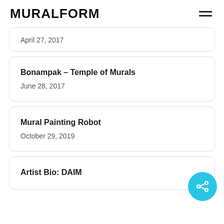MURALFORM
April 27, 2017
Bonampak – Temple of Murals
June 28, 2017
Mural Painting Robot
October 29, 2019
Artist Bio: DAIM